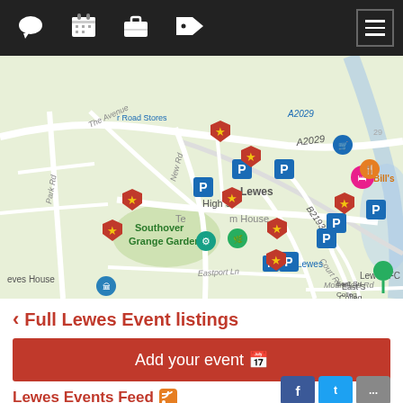Navigation bar with icons: chat, calendar, briefcase, tag, hamburger menu
[Figure (map): Street map of Lewes town centre showing multiple red starred event pins, blue P parking pins, and other location markers. Streets labeled include A2029, B2193, Park Rd, New Rd, High St, Eastport Ln, Court Rd, Mountfield Rd, The Avenue. Places labeled include Southover Grange Gardens, Lewes FC, East Sussex College, Bill's, Lewes House, Waitrose & Partners Lewes, Lewes train station.]
< Full Lewes Event listings
Add your event 📅
Lewes Events Feed 🔶